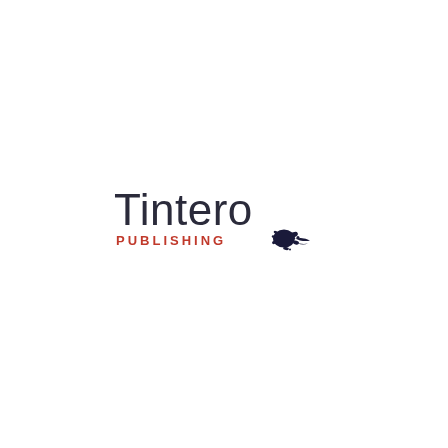[Figure (logo): Tintero Publishing logo: the word 'Tintero' in large dark charcoal sans-serif font above 'PUBLISHING' in smaller red uppercase spaced letters, with a dark navy ink blot/splatter graphic to the right of the word PUBLISHING]